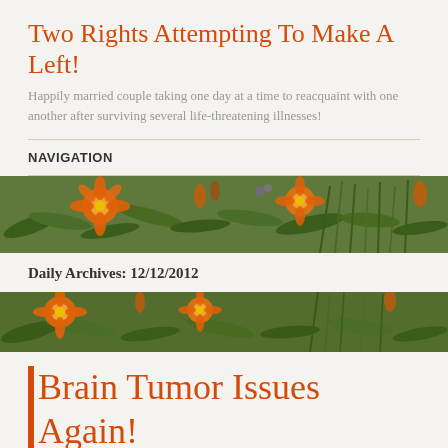Two Rights Attempting To Make A Left!
Happily married couple taking one day at a time to reacquaint with one another after surviving several life-threatening illnesses!
NAVIGATION
[Figure (photo): Banner photo of orange day lilies and green foliage garden]
Daily Archives: 12/12/2012
[Figure (photo): Second banner photo of orange day lilies and green garden plants]
Brain Tumor Issues Again!